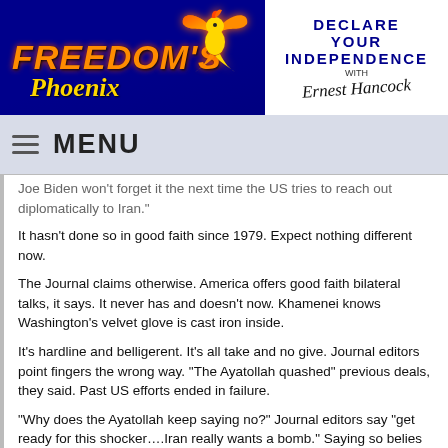[Figure (logo): Freedom's Phoenix website header logo with phoenix bird on dark blue background]
[Figure (logo): Declare Your Independence with Ernest Hancock logo on white background]
MENU
Joe Biden won't forget it the next time the US tries to reach out diplomatically to Iran."
It hasn't done so in good faith since 1979. Expect nothing different now.
The Journal claims otherwise. America offers good faith bilateral talks, it says. It never has and doesn't now. Khamenei knows Washington's velvet glove is cast iron inside.
It's hardline and belligerent. It's all take and no give. Journal editors point fingers the wrong way. "The Ayatollah quashed" previous deals, they said. Past US efforts ended in failure.
"Why does the Ayatollah keep saying no?" Journal editors say "get ready for this shocker….Iran really wants a bomb." Saying so belies annual US intelligence assessments.
Journal editors leave inconvenient facts unmentioned. Vilifying propaganda substitutes for truth and full disclosure. Media